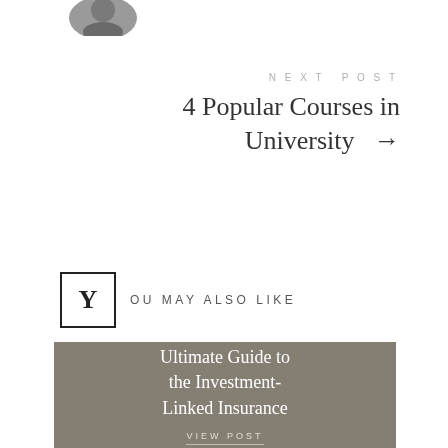[Figure (photo): Circular avatar/profile photo partially visible at top of page]
NEXT POST
4 Popular Courses in University →
YOU MAY ALSO LIKE
Ultimate Guide to the Investment-Linked Insurance
VIEW POST